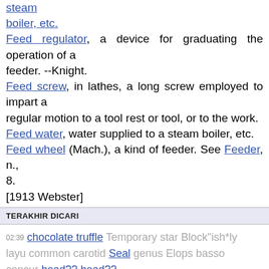steam boiler, etc. Feed regulator, a device for graduating the operation of a feeder. --Knight. Feed screw, in lathes, a long screw employed to impart a regular motion to a tool rest or tool, or to the work. Feed water, water supplied to a steam boiler, etc. Feed wheel (Mach.), a kind of feeder. See Feeder, n., 8. [1913 Webster]
TERAKHIR DICARI
02:39 chocolate truffle Temporary star Block"ish*ly layu common carotid Seal genus Elops basso concur head?? head??
ADVERTISEMENT
Desktop version